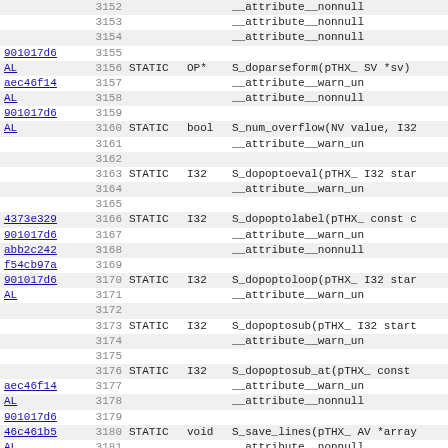| hash | lineno | storage | type | code |
| --- | --- | --- | --- | --- |
|  | 3152 |  |  | __attribute__nonnull |
|  | 3153 |  |  | __attribute__nonnull |
|  | 3154 |  |  | __attribute__nonnull |
| 901017d6 | 3155 |  |  |  |
| AL | 3156 | STATIC | OP* | S_doparseform(pTHX_ SV *sv) |
| aec46f14 | 3157 |  |  | __attribute__warn_un |
| AL | 3158 |  |  | __attribute__nonnull |
| 901017d6 | 3159 |  |  |  |
| AL | 3160 | STATIC | bool | S_num_overflow(NV value, I32 |
|  | 3161 |  |  | __attribute__warn_un |
|  | 3162 |  |  |  |
|  | 3163 | STATIC | I32 | S_dopoptoeval(pTHX_ I32 star |
|  | 3164 |  |  | __attribute__warn_un |
|  | 3165 |  |  |  |
| 4373e329 | 3166 | STATIC | I32 | S_dopoptolabel(pTHX_ const c |
| 901017d6 | 3167 |  |  | __attribute__warn_un |
| abb2c242 | 3168 |  |  | __attribute__nonnull |
| f54cb97a | 3169 |  |  |  |
| 901017d6 | 3170 | STATIC | I32 | S_dopoptoloop(pTHX_ I32 star |
| AL | 3171 |  |  | __attribute__warn_un |
|  | 3172 |  |  |  |
|  | 3173 | STATIC | I32 | S_dopoptosub(pTHX_ I32 start |
|  | 3174 |  |  | __attribute__warn_un |
|  | 3175 |  |  |  |
|  | 3176 | STATIC | I32 | S_dopoptosub_at(pTHX_ const |
| aec46f14 | 3177 |  |  | __attribute__warn_un |
| AL | 3178 |  |  | __attribute__nonnull |
| 901017d6 | 3179 |  |  |  |
| 46c461b5 | 3180 | STATIC | void | S_save_lines(pTHX_ AV *array |
| AL | 3181 |  |  | __attribute__nonnull |
|  | 3182 |  |  |  |
| 901017d6 | 3183 | STATIC | OP* | S_doeval(pTHX_ int gimme, OP |
| AL | 3184 |  |  | __attribute__ |